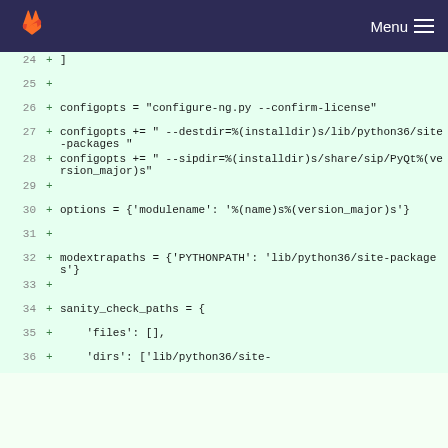GitLab — Menu
[Figure (screenshot): GitLab diff view showing lines 24-36 of a Python recipe file with added lines highlighted in green]
24  + ]
25  +
26  + configopts = "configure-ng.py --confirm-license"
27  + configopts += " --destdir=%(installdir)s/lib/python36/site-packages "
28  + configopts += " --sipdir=%(installdir)s/share/sip/PyQt%(version_major)s"
29  +
30  + options = {'modulename': '%(name)s%(version_major)s'}
31  +
32  + modextrapaths = {'PYTHONPATH': 'lib/python36/site-packages'}
33  +
34  + sanity_check_paths = {
35  +     'files': [],
36  +     'dirs': ['lib/python36/site-